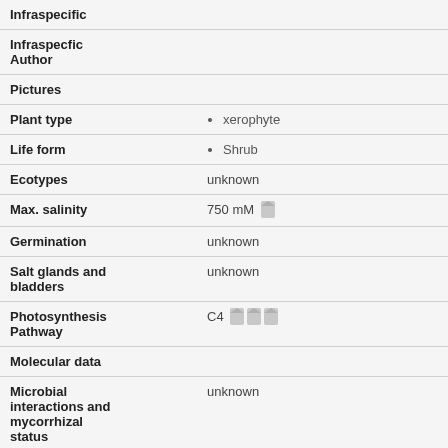| Field | Value |
| --- | --- |
| Infraspecific |  |
| Infraspecfic Author |  |
| Pictures |  |
| Plant type | xerophyte |
| Life form | Shrub |
| Ecotypes | unknown |
| Max. salinity | 750 mM |
| Germination | unknown |
| Salt glands and bladders | unknown |
| Photosynthesis Pathway | C4 |
| Molecular data |  |
| Microbial interactions and mycorrhizal status | unknown |
| Bioremediation | unknown |